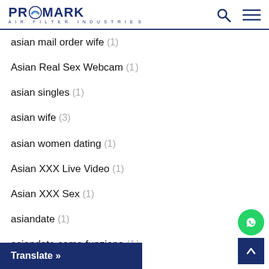PROMARK AIR FILTER INDUSTRIES
asian mail order wife (1)
Asian Real Sex Webcam (1)
asian singles (1)
asian wife (3)
asian women dating (1)
Asian XXX Live Video (1)
Asian XXX Sex (1)
asiandate (1)
asiandate come funziona (1)
a…nciona (1)